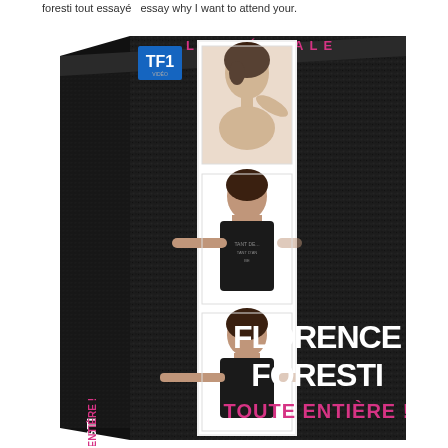foresti tout essayé — essay why I want to attend your.
[Figure (photo): DVD box set product photo of 'Florence Foresti Toute Entière! L'Intégrale' — a dark textured black box with TF1 logo, three polaroid-style photos of Florence Foresti on the front strip, text 'FLORENCE FORESTI TOUTE ENTIERE!' in white and pink bold letters, and vertical spine text 'FLORENCE FORESTI TOUTE ENTIERE!']